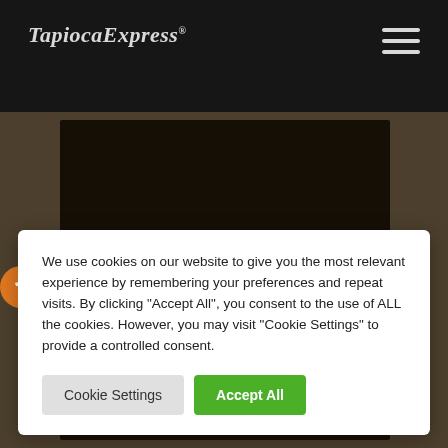TapiocaExpress®
[Figure (screenshot): Tapioca Express website screenshot showing a chalkboard-style menu background with wooden frame, cookie consent dialog overlaid]
We use cookies on our website to give you the most relevant experience by remembering your preferences and repeat visits. By clicking "Accept All", you consent to the use of ALL the cookies. However, you may visit "Cookie Settings" to provide a controlled consent.
Cookie Settings | Accept All